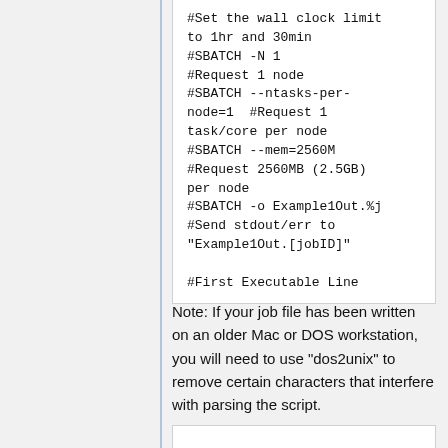#Set the wall clock limit to 1hr and 30min
#SBATCH -N 1  #Request 1 node
#SBATCH --ntasks-per-node=1  #Request 1 task/core per node
#SBATCH --mem=2560M  #Request 2560MB (2.5GB) per node
#SBATCH -o Example1Out.%j  #Send stdout/err to "Example1Out.[jobID]"

#First Executable Line
Note: If your job file has been written on an older Mac or DOS workstation, you will need to use "dos2unix" to remove certain characters that interfere with parsing the script.